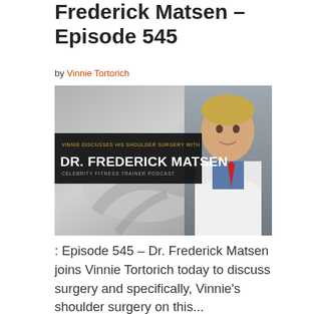Frederick Matsen – Episode 545
by Vinnie Tortorich
[Figure (photo): Podcast banner image showing a shoulder X-ray background with text overlay 'VINNIE DISCUSSES HIS SHOULDER SURGERY WITH DR. FREDERICK MATSEN – CELEBRITY FITNESS TRAINER PODCAST' and a photo of Dr. Frederick Matsen in a white lab coat with blue shirt and red tie.]
: Episode 545 – Dr. Frederick Matsen joins Vinnie Tortorich today to discuss surgery and specifically, Vinnie's shoulder surgery on this...